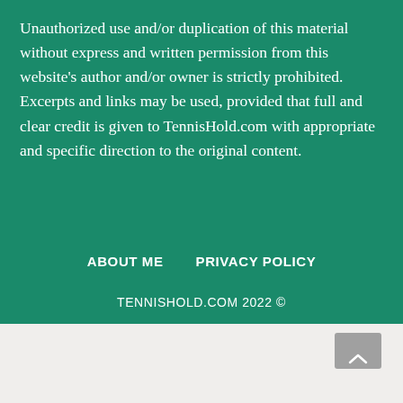Unauthorized use and/or duplication of this material without express and written permission from this website's author and/or owner is strictly prohibited. Excerpts and links may be used, provided that full and clear credit is given to TennisHold.com with appropriate and specific direction to the original content.
ABOUT ME   PRIVACY POLICY
TENNISHOLD.COM 2022 ©